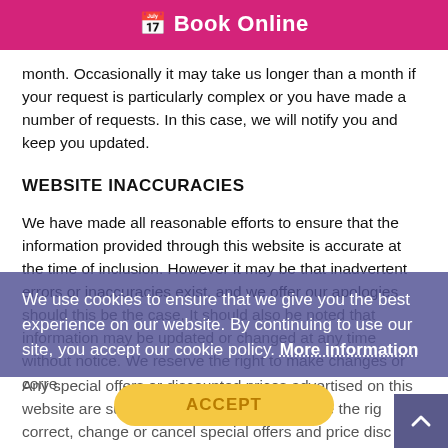📅 Book Online
month. Occasionally it may take us longer than a month if your request is particularly complex or you have made a number of requests. In this case, we will notify you and keep you updated.
WEBSITE INACCURACIES
We have made all reasonable efforts to ensure that the information provided through this website is accurate at the time of inclusion. However it may be that inadvertent errors or inaccuracies exist, and we offer our apologies should this be the case. It should also be noted that information may be updated or changed at any time without notice. We reserve the right to make changes or corre
We use cookies to ensure that we give you the best experience on our website. By continuing to use our site, you accept our cookie policy. More information
ACCEPT
Any special offers or discounted prices advertised on this website are subject to availability. We reserve the rig correct, change or cancel special offers and price disc at any time, without notice. We make no representations or